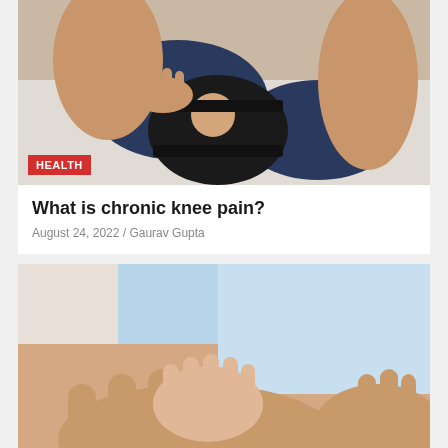[Figure (photo): Person sitting on couch wearing a black knee brace/support on their knee, with hands resting near the knee]
HEALTH
What is chronic knee pain?
August 24, 2022 / Gaurav Gupta
[Figure (photo): Close-up of a baby's small hands resting on adult hands, baby wearing a light blue outfit]
HEALTH